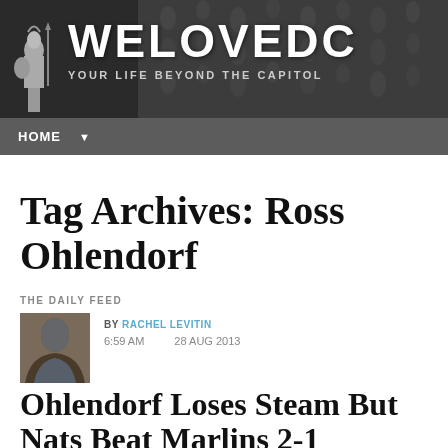WELOVEDC — YOUR LIFE BEYOND THE CAPITOL
Tag Archives: Ross Ohlendorf
THE DAILY FEED
BY RACHEL LEVITIN
6:59 AM     28 AUG 2013
Ohlendorf Loses Steam But Nats Beat Marlins 2-1
Ryan Zimmerman swing